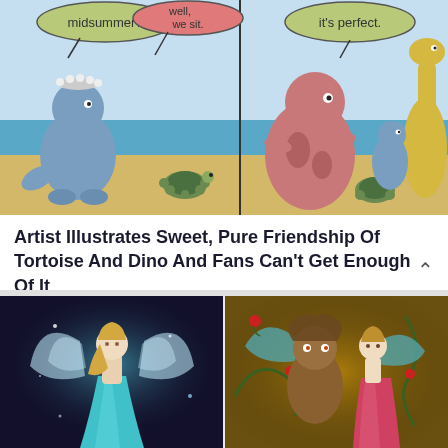[Figure (illustration): Comic strip showing cartoon dinosaurs and a tortoise at a beach. Speech bubbles say 'midsummer?', 'well, we sit.', and 'it's perfect.' Blue dinosaur with pearl crown, pink dinosaur, tortoise, and yellow dinosaur with smaller blue dinosaur.]
Artist Illustrates Sweet, Pure Friendship Of Tortoise And Dino And Fans Can't Get Enough Of It
[Figure (illustration): Fantasy illustration of Elsa from Frozen depicted as a stained-glass style fairy with wings, wearing a teal gown, against a dark magical background.]
[Figure (illustration): Fantasy illustration of Beauty and the Beast depicted as stained-glass style fairies with wings, with golden swirls and red roses in the background.]